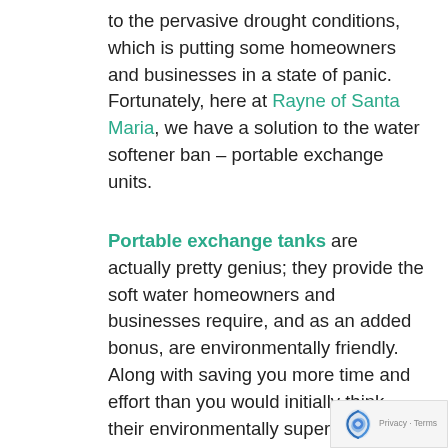to the pervasive drought conditions, which is putting some homeowners and businesses in a state of panic. Fortunately, here at Rayne of Santa Maria, we have a solution to the water softener ban – portable exchange units.
Portable exchange tanks are actually pretty genius; they provide the soft water homeowners and businesses require, and as an added bonus, are environmentally friendly. Along with saving you more time and effort than you would initially think, their environmentally superior way to softe...